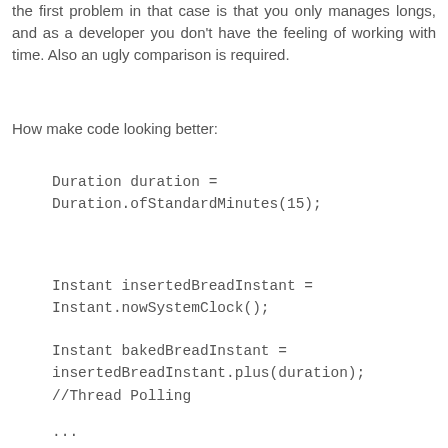the first problem in that case is that you only manages longs, and as a developer you don't have the feeling of working with time. Also an ugly comparison is required.
How make code looking better:
Duration duration = Duration.ofStandardMinutes(15);
Instant insertedBreadInstant = Instant.nowSystemClock();

Instant bakedBreadInstant = insertedBreadInstant.plus(duration);
//Thread Polling
...